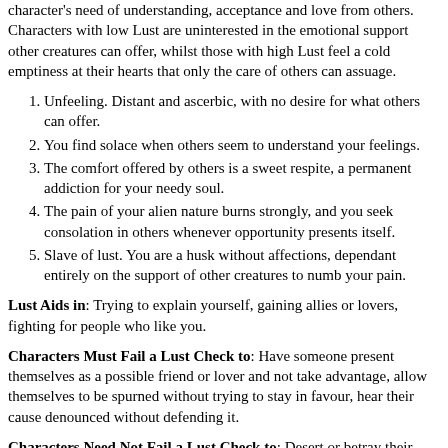character's need of understanding, acceptance and love from others. Characters with low Lust are uninterested in the emotional support other creatures can offer, whilst those with high Lust feel a cold emptiness at their hearts that only the care of others can assuage.
Unfeeling. Distant and ascerbic, with no desire for what others can offer.
You find solace when others seem to understand your feelings.
The comfort offered by others is a sweet respite, a permanent addiction for your needy soul.
The pain of your alien nature burns strongly, and you seek consolation in others whenever opportunity presents itself.
Slave of lust. You are a husk without affections, dependant entirely on the support of other creatures to numb your pain.
Lust Aids in: Trying to explain yourself, gaining allies or lovers, fighting for people who like you.
Characters Must Fail a Lust Check to: Have someone present themselves as a possible friend or lover and not take advantage, allow themselves to be spurned without trying to stay in favour, hear their cause denounced without defending it.
Characters Need Not Fail a Lust Check to: Desert or betray their lovers; there are always more to be found.